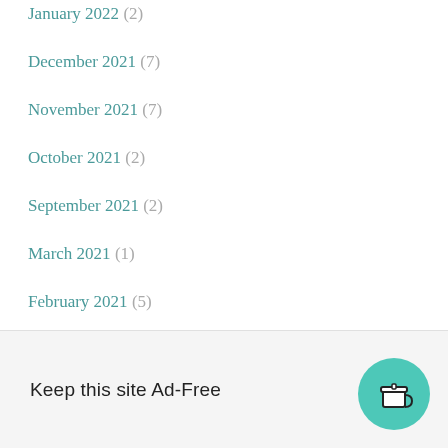January 2022 (2)
December 2021 (7)
November 2021 (7)
October 2021 (2)
September 2021 (2)
March 2021 (1)
February 2021 (5)
November 2020 (2)
October 20
Keep this site Ad-Free